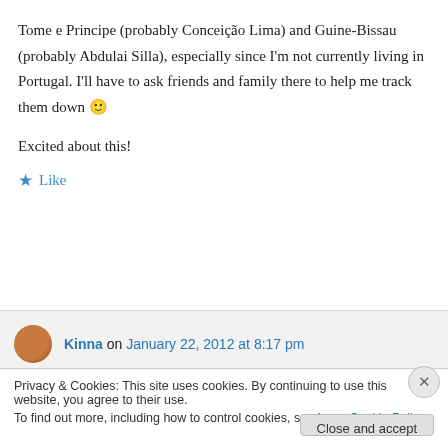Tome e Principe (probably Conceição Lima) and Guine-Bissau (probably Abdulai Silla), especially since I'm not currently living in Portugal. I'll have to ask friends and family there to help me track them down 🙂
Excited about this!
★ Like
Kinna on January 22, 2012 at 8:17 pm
Privacy & Cookies: This site uses cookies. By continuing to use this website, you agree to their use. To find out more, including how to control cookies, see here: Cookie Policy
Close and accept